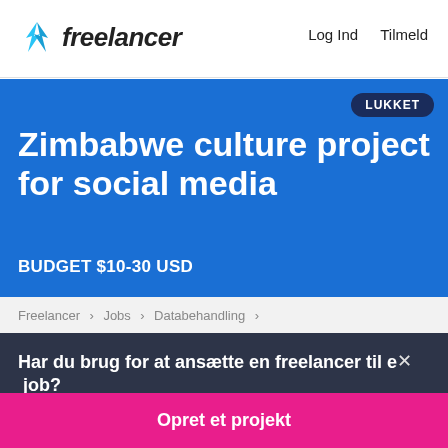freelancer  Log Ind  Tilmeld
Zimbabwe culture project for social media
BUDGET $10-30 USD
LUKKET
Freelancer › Jobs › Databehandling ›
Har du brug for at ansætte en freelancer til et job?
Opret et projekt